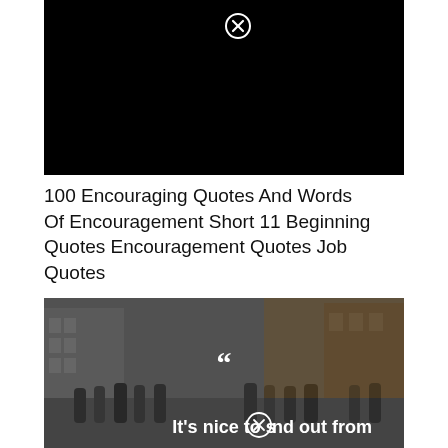[Figure (other): Black video player rectangle with a close/cancel icon (circle with X) at top center]
100 Encouraging Quotes And Words Of Encouragement Short 11 Beginning Quotes Encouragement Quotes Job Quotes
[Figure (photo): City street scene with people walking, semi-transparent dark overlay, large open-quote mark in white, and partial text 'It’s nice to sⓠnd out from' in white at bottom]